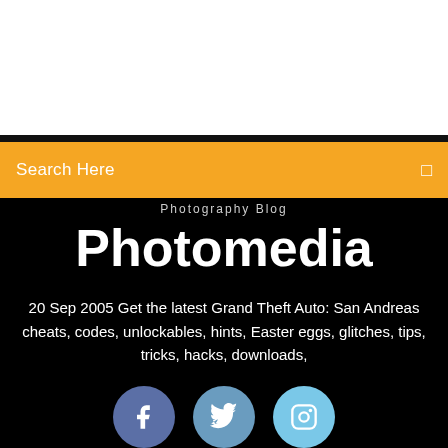Search Here
Photography Blog
Photomedia
20 Sep 2005 Get the latest Grand Theft Auto: San Andreas cheats, codes, unlockables, hints, Easter eggs, glitches, tips, tricks, hacks, downloads,
[Figure (infographic): Social media icons: Facebook (blue circle with f), Twitter (teal circle with bird), Instagram (light blue circle with camera)]